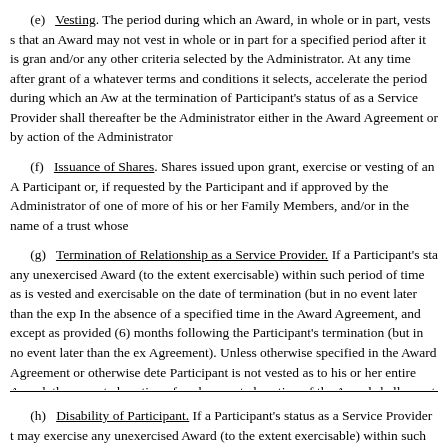(e) Vesting. The period during which an Award, in whole or in part, vests s that an Award may not vest in whole or in part for a specified period after it is gran and/or any other criteria selected by the Administrator. At any time after grant of a whatever terms and conditions it selects, accelerate the period during which an Aw at the termination of Participant's status of as a Service Provider shall thereafter be the Administrator either in the Award Agreement or by action of the Administrator
(f) Issuance of Shares. Shares issued upon grant, exercise or vesting of an A Participant or, if requested by the Participant and if approved by the Administrator of one of more of his or her Family Members, and/or in the name of a trust whose
(g) Termination of Relationship as a Service Provider. If a Participant's sta any unexercised Award (to the extent exercisable) within such period of time as is vested and exercisable on the date of termination (but in no event later than the exp In the absence of a specified time in the Award Agreement, and except as provided (6) months following the Participant's termination (but in no event later than the ex Agreement). Unless otherwise specified in the Award Agreement or otherwise dete Participant is not vested as to his or her entire Award, the unvested portion of such unvested portion of the Award shall revert to the Plan and again be available for gr not exercise his or her Award within the time specified by the Administrator, the A revert to the Plan and again be available for grant or award under the Plan.
10
(h) Disability of Participant. If a Participant's status as a Service Provider t may exercise any unexercised Award (to the extent exercisable) within such period Award is vested and exercisable on the date of termination (but in no event later th